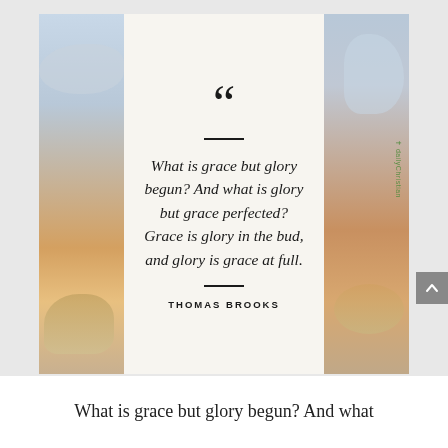[Figure (infographic): Inspirational quote card with sky/sunset background image panels on left and right, white center panel with large open quotation mark, italic quote text, horizontal dividers, and author name in small caps.]
What is grace but glory begun? And what is glory but grace perfected? Grace is glory in the bud, and glory is grace at full.
THOMAS BROOKS
What is grace but glory begun? And what